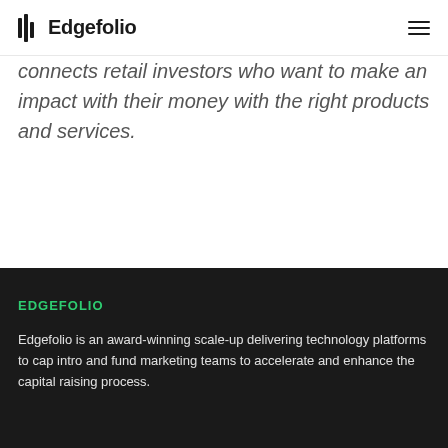Edgefolio
connects retail investors who want to make an impact with their money with the right products and services.
EDGEFOLIO
Edgefolio is an award-winning scale-up delivering technology platforms to cap intro and fund marketing teams to accelerate and enhance the capital raising process.